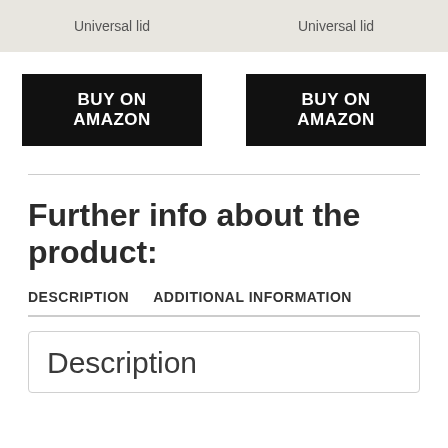Universal lid
Universal lid
BUY ON AMAZON
BUY ON AMAZON
Further info about the product:
DESCRIPTION
ADDITIONAL INFORMATION
Description